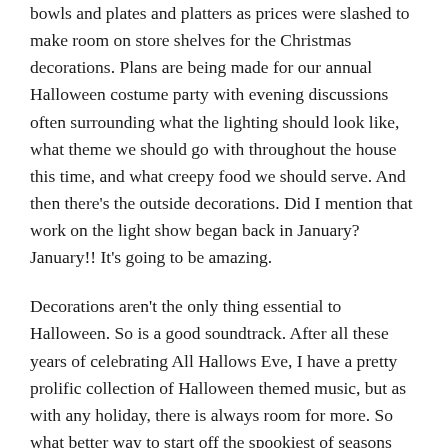bowls and plates and platters as prices were slashed to make room on store shelves for the Christmas decorations. Plans are being made for our annual Halloween costume party with evening discussions often surrounding what the lighting should look like, what theme we should go with throughout the house this time, and what creepy food we should serve. And then there's the outside decorations. Did I mention that work on the light show began back in January? January!! It's going to be amazing.
Decorations aren't the only thing essential to Halloween. So is a good soundtrack. After all these years of celebrating All Hallows Eve, I have a pretty prolific collection of Halloween themed music, but as with any holiday, there is always room for more. So what better way to start off the spookiest of seasons than with a brand new song from Lucy Kalantari and the Jazz Cats? Released last Friday, "Flick of My Wrist" is a fantastically orchestrated tune that allows Kalantari's rollicking vocals to dance around the lyrics as they describe